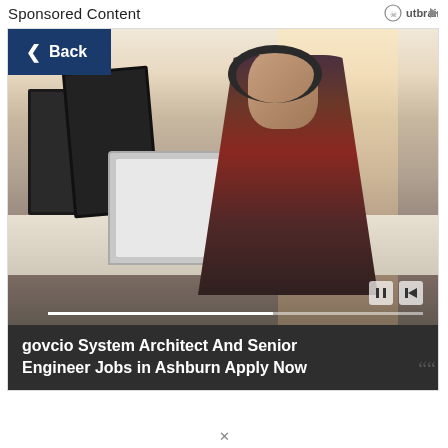Sponsored Content
Outbrain
[Figure (photo): Office scene with two people wearing headphones working at computers on a shared desk with multiple monitors and laptops. A 'Back' navigation button overlays the top-left of the image. Play/pause controls visible at bottom right.]
govcio System Architect And Senior Engineer Jobs in Ashburn Apply Now